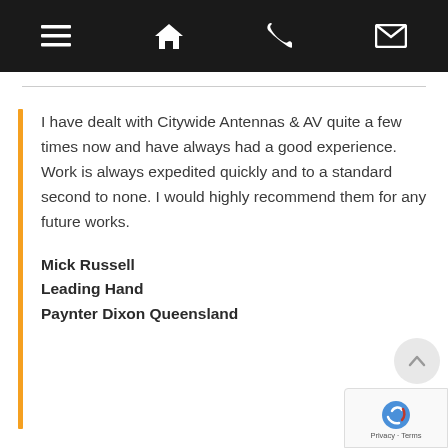Navigation bar with menu, home, phone, and email icons
I have dealt with Citywide Antennas & AV quite a few times now and have always had a good experience. Work is always expedited quickly and to a standard second to none. I would highly recommend them for any future works.
Mick Russell
Leading Hand
Paynter Dixon Queensland